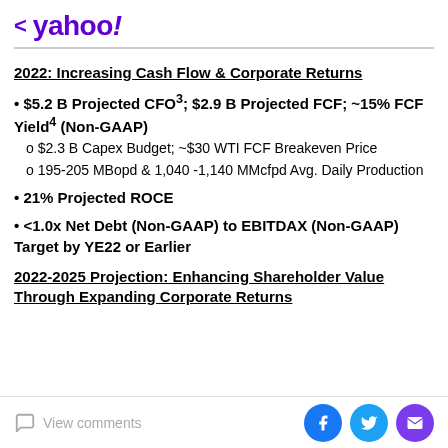< yahoo!
2022: Increasing Cash Flow & Corporate Returns
$5.2 B Projected CFO³; $2.9 B Projected FCF; ~15% FCF Yield⁴ (Non-GAAP)
o $2.3 B Capex Budget; ~$30 WTI FCF Breakeven Price
o 195-205 MBopd & 1,040 -1,140 MMcfpd Avg. Daily Production
• 21% Projected ROCE
• <1.0x Net Debt (Non-GAAP) to EBITDAX (Non-GAAP) Target by YE22 or Earlier
2022-2025 Projection: Enhancing Shareholder Value Through Expanding Corporate Returns
View comments